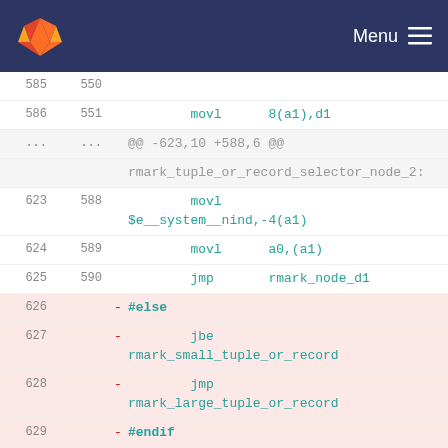GitLab Menu
[Figure (screenshot): Code diff view showing assembly source lines 585-671 with line numbers, some lines highlighted in pink (deleted), showing movl, jmp, jbe instructions and preprocessor directives #else, #endif, #ifdef NO_BIT_INSTRUCTIONS, and labels like rmark_tuple_or_record_selector_node_2, rmark_strict_record_selector_node_1, rmark_small_tuple_or_record, rmark_large_tuple_or_record, rmark_select_from_small_record]